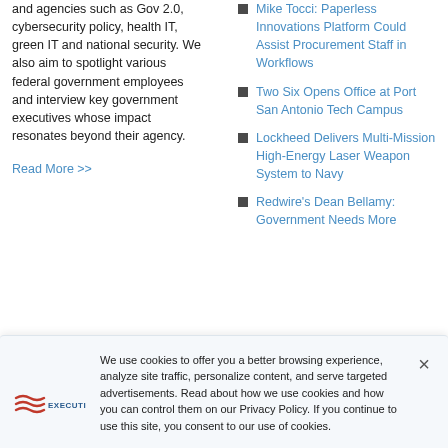and agencies such as Gov 2.0, cybersecurity policy, health IT, green IT and national security. We also aim to spotlight various federal government employees and interview key government executives whose impact resonates beyond their agency.
Read More >>
Mike Tocci: Paperless Innovations Platform Could Assist Procurement Staff in Workflows
Two Six Opens Office at Port San Antonio Tech Campus
Lockheed Delivers Multi-Mission High-Energy Laser Weapon System to Navy
Redwire's Dean Bellamy: Government Needs More
We use cookies to offer you a better browsing experience, analyze site traffic, personalize content, and serve targeted advertisements. Read about how we use cookies and how you can control them on our Privacy Policy. If you continue to use this site, you consent to our use of cookies.